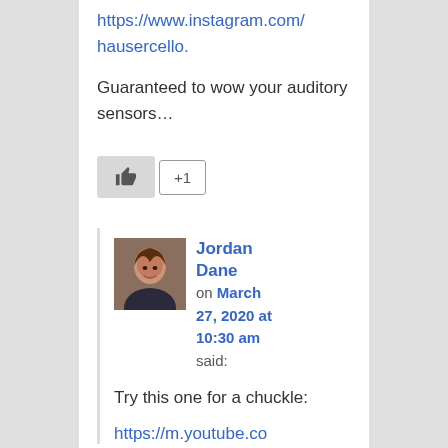https://www.instagram.com/hausercello.
Guaranteed to wow your auditory sensors…
[Figure (other): Like button with thumbs up icon and +1 button]
Jordan Dane on March 27, 2020 at 10:30 am said:
Try this one for a chuckle:
https://m.youtube.co